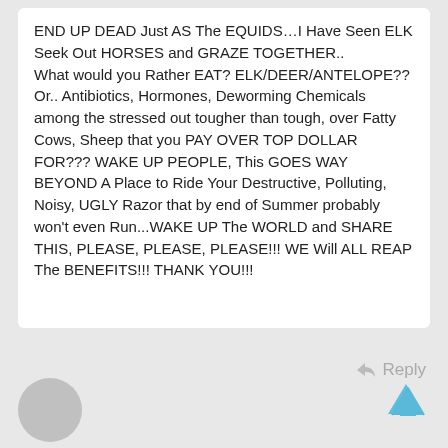END UP DEAD Just AS The EQUIDS…I Have Seen ELK Seek Out HORSES and GRAZE TOGETHER.. What would you Rather EAT? ELK/DEER/ANTELOPE?? Or.. Antibiotics, Hormones, Deworming Chemicals among the stressed out tougher than tough, over Fatty Cows, Sheep that you PAY OVER TOP DOLLAR FOR??? WAKE UP PEOPLE, This GOES WAY BEYOND A Place to Ride Your Destructive, Polluting, Noisy, UGLY Razor that by end of Summer probably won't even Run...WAKE UP The WORLD and SHARE THIS, PLEASE, PLEASE, PLEASE!!! WE Will ALL REAP The BENEFITS!!! THANK YOU!!!